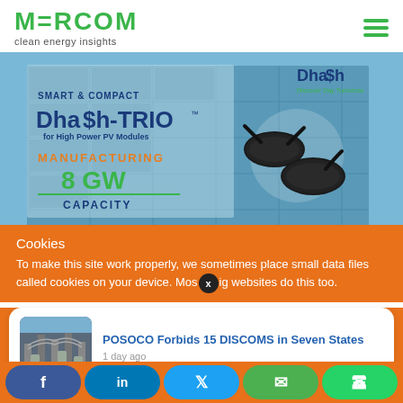MERCOM clean energy insights
[Figure (photo): Advertisement for Dhash-TRIO smart & compact junction box for High Power PV Modules. Shows solar panels background with product images. Manufacturing capacity 8 GW. Brand: Dhash, Discover Day Tomorrow.]
Cookies
To make this site work properly, we sometimes place small data files called cookies on your device. Most big websites do this too.
[Figure (photo): News thumbnail showing electrical substation/power lines]
POSOCO Forbids 15 DISCOMS in Seven States
1 day ago
f  in  Twitter  Email  WhatsApp social share buttons